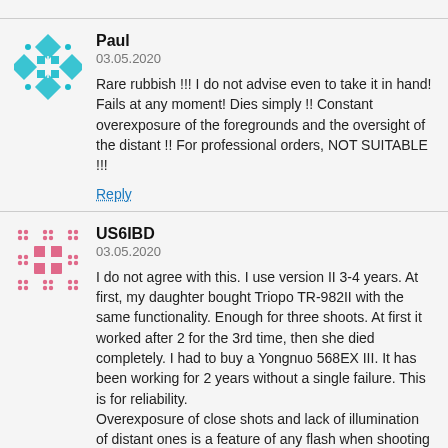[Figure (illustration): Teal geometric mosaic/diamond pattern avatar for user Paul]
Paul
03.05.2020
Rare rubbish !!! I do not advise even to take it in hand! Fails at any moment! Dies simply !! Constant overexposure of the foregrounds and the oversight of the distant !! For professional orders, NOT SUITABLE !!!
Reply
[Figure (illustration): Pink/rose geometric square mosaic pattern avatar for user US6IBD]
US6IBD
03.05.2020
I do not agree with this. I use version II 3-4 years. At first, my daughter bought Triopo TR-982II with the same functionality. Enough for three shoots. At first it worked after 2 for the 3rd time, then she died completely. I had to buy a Yongnuo 568EX III. It has been working for 2 years without a single failure. This is for reliability.
Overexposure of close shots and lack of illumination of distant ones is a feature of any flash when shooting at close range, especially if you use matrix exposure metering. The camera tries to average the exposure for the far and foregrounds and it turns